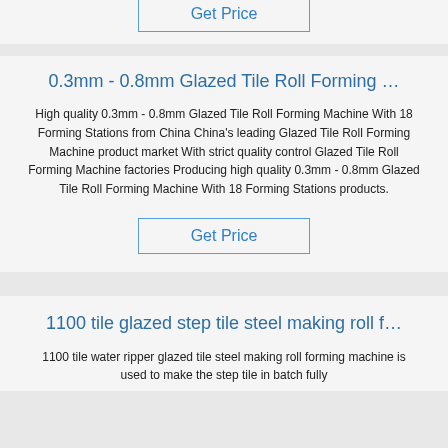Get Price
0.3mm - 0.8mm Glazed Tile Roll Forming …
High quality 0.3mm - 0.8mm Glazed Tile Roll Forming Machine With 18 Forming Stations from China China's leading Glazed Tile Roll Forming Machine product market With strict quality control Glazed Tile Roll Forming Machine factories Producing high quality 0.3mm - 0.8mm Glazed Tile Roll Forming Machine With 18 Forming Stations products.
Get Price
1100 tile glazed step tile steel making roll f…
1100 tile water ripper glazed tile steel making roll forming machine is used to make the step tile in batch fully